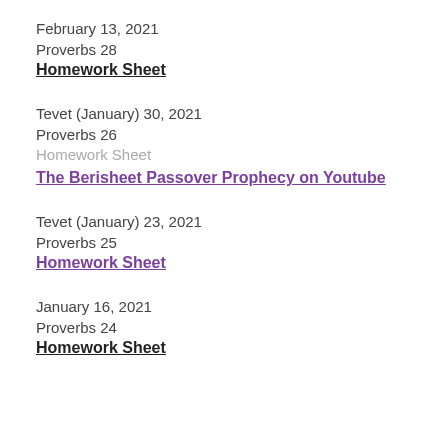February 13, 2021
Proverbs 28
Homework Sheet
Tevet (January) 30, 2021
Proverbs 26
Homework Sheet
The Berisheet Passover Prophecy on Youtube
Tevet (January) 23, 2021
Proverbs 25
Homework Sheet
January 16, 2021
Proverbs 24
Homework Sheet